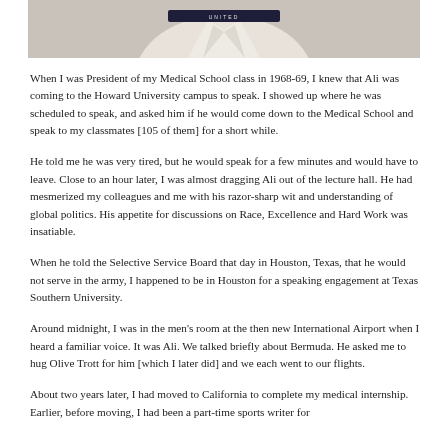[Figure (photo): Partial photo of a person in a white uniform/gi with a dark belt, cropped to show only the torso/collar area at the top of the page]
When I was President of my Medical School class in 1968-69, I knew that Ali was coming to the Howard University campus to speak. I showed up where he was scheduled to speak, and asked him if he would come down to the Medical School and speak to my classmates [105 of them] for a short while.
He told me he was very tired, but he would speak for a few minutes and would have to leave. Close to an hour later, I was almost dragging Ali out of the lecture hall. He had mesmerized my colleagues and me with his razor-sharp wit and understanding of global politics. His appetite for discussions on Race, Excellence and Hard Work was insatiable.
When he told the Selective Service Board that day in Houston, Texas, that he would not serve in the army, I happened to be in Houston for a speaking engagement at Texas Southern University.
Around midnight, I was in the men's room at the then new International Airport when I heard a familiar voice. It was Ali. We talked briefly about Bermuda. He asked me to hug Olive Trott for him [which I later did] and we each went to our flights.
About two years later, I had moved to California to complete my medical internship. Earlier, before moving, I had been a part-time sports writer for